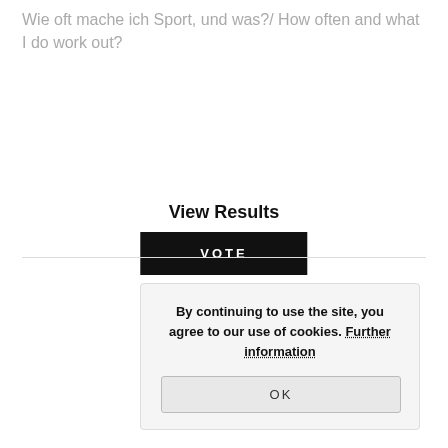Wie oft mache ich Sport, und was?/ How often and what I do work out?
[Figure (other): Black VOTE button]
View Results
By continuing to use the site, you agree to our use of cookies. Further information
[Figure (other): OK button in cookie consent box]